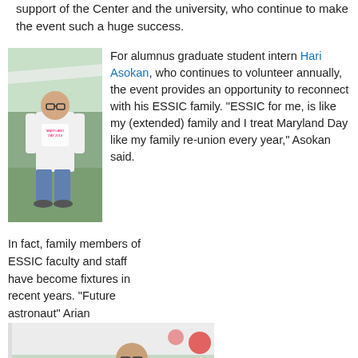support of the Center and the university, who continue to make the event such a huge success.
[Figure (photo): Man in Maryland Day 2013 t-shirt standing outdoors under a tent at an event table]
For alumnus graduate student intern Hari Asokan, who continues to volunteer annually, the event provides an opportunity to reconnect with his ESSIC family. “ESSIC for me, is like my (extended) family and I treat Maryland Day like my family re-union every year,” Asokan said.
In fact, family members of ESSIC faculty and staff have become fixtures in recent years. “Future astronaut” Arian
[Figure (photo): A child and an adult man both wearing Maryland Day 2013 t-shirts standing together at an event under a white tent]